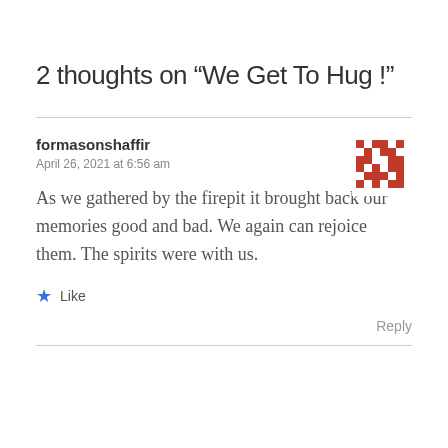2 thoughts on “We Get To Hug!”
formasonshaffir
April 26, 2021 at 6:56 am
As we gathered by the firepit it brought back our memories good and bad. We again can rejoice them. The spirits were with us.
Like
Reply